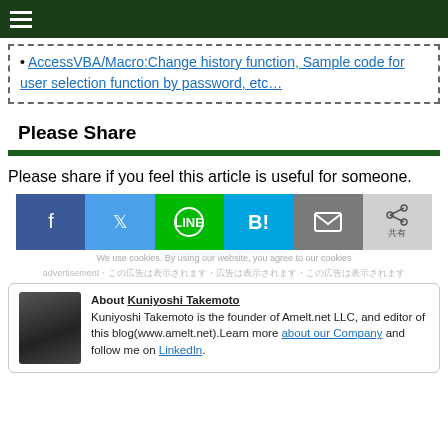AccessVBA/Macro:Change history function, Sample code for user selection function by password, etc…
Please Share
Please share if you feel this article is useful for someone.
[Figure (infographic): Social share buttons: Facebook, Twitter, LINE, Hatena Bookmark, Mail, Share]
We use cookies. By using our website, you agree to our cookies
About Kuniyoshi Takemoto
Kuniyoshi Takemoto is the founder of Amelt.net LLC, and editor of this blog(www.amelt.net).Learn more about our Company and follow me on LinkedIn.